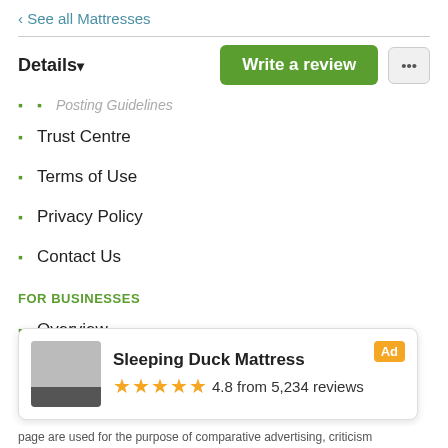‹ See all Mattresses
Details ▾   Write a review   ...
Posting Guidelines (partial/faded)
Trust Centre
Terms of Use
Privacy Policy
Contact Us
FOR BUSINESSES
Overview
Brand Management
Advertising
Ambassador Program
[Figure (other): Ad banner for Sleeping Duck Mattress showing product thumbnail, 4.8 from 5,234 reviews with star rating and Ad badge]
page are used for the purpose of comparative advertising, criticism